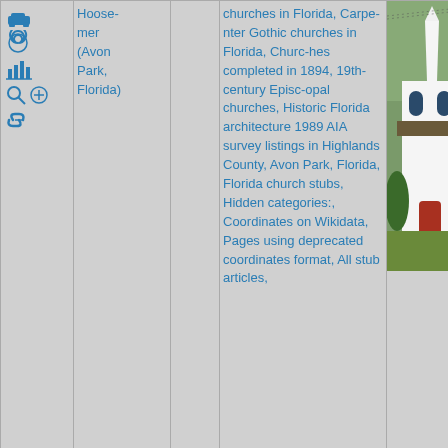| Icons | Name | Link | Categories | Image |
| --- | --- | --- | --- | --- |
| [car][spiral][building][search][+][link icons] | Hoosemer (Avon Park, Florida) | [link] | churches in Florida, Carpenter Gothic churches in Florida, Churches completed in 1894, 19th-century Episcopal churches, Historic Florida architecture 1989 AIA survey listings in Highlands County, Avon Park, Florida, Florida church stubs, Hidden categories:, Coordinates on Wikidata, Pages using deprecated coordinates format, All stub articles, | [church photo] |
| 52: 8.3mi [icons] | Avon Park Executive | [link] | 1940 establishments in Florida, Airports in | [map photo] |